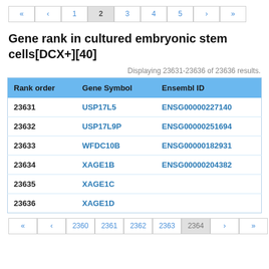« ‹ 1 2 3 4 5 › »
Gene rank in cultured embryonic stem cells[DCX+][40]
Displaying 23631-23636 of 23636 results.
| Rank order | Gene Symbol | Ensembl ID |
| --- | --- | --- |
| 23631 | USP17L5 | ENSG00000227140 |
| 23632 | USP17L9P | ENSG00000251694 |
| 23633 | WFDC10B | ENSG00000182931 |
| 23634 | XAGE1B | ENSG00000204382 |
| 23635 | XAGE1C |  |
| 23636 | XAGE1D |  |
« ‹ 2360 2361 2362 2363 2364 › »